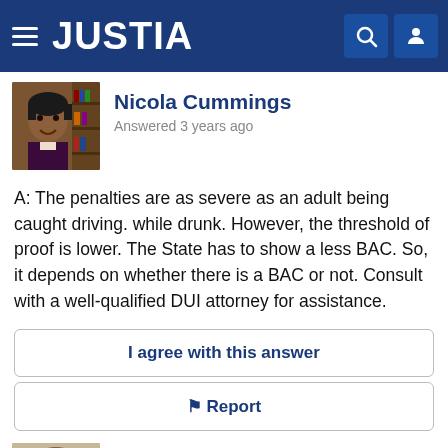JUSTIA
Nicola Cummings
Answered 3 years ago
A: The penalties are as severe as an adult being caught driving. while drunk. However, the threshold of proof is lower. The State has to show a less BAC. So, it depends on whether there is a BAC or not. Consult with a well-qualified DUI attorney for assistance.
I agree with this answer
Report
David S. Pollack